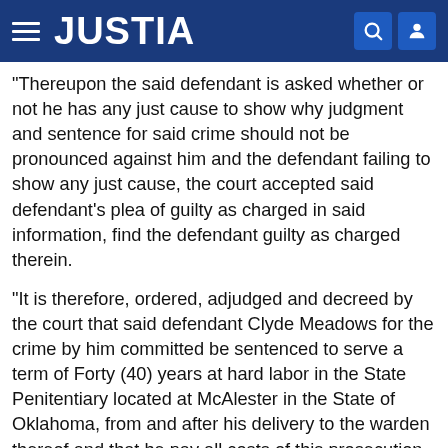JUSTIA
"Thereupon the said defendant is asked whether or not he has any just cause to show why judgment and sentence for said crime should not be pronounced against him and the defendant failing to show any just cause, the court accepted said defendant's plea of guilty as charged in said information, find the defendant guilty as charged therein.
"It is therefore, ordered, adjudged and decreed by the court that said defendant Clyde Meadows for the crime by him committed be sentenced to serve a term of Forty (40) years at hard labor in the State Penitentiary located at McAlester in the State of Oklahoma, from and after his delivery to the warden thereof and that he pay all costs of this prosecution, taxed at $96.
"It is further ordered by the court that the said defendant be...